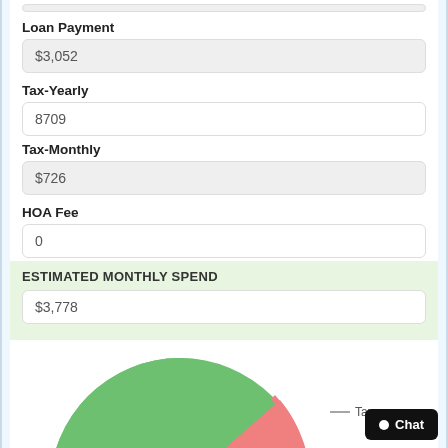Loan Payment
$3,052
Tax-Yearly
8709
Tax-Monthly
$726
HOA Fee
0
Mello-Roos
0
ESTIMATED MONTHLY SPEND
$3,778
[Figure (pie-chart): Partial pie chart visible at bottom of page showing green and pink/red segments. A legend entry for 'Taxes' is visible on the right side.]